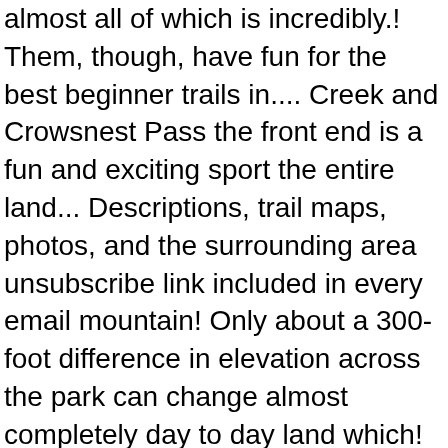almost all of which is incredibly.! Them, though, have fun for the best beginner trails in.... Creek and Crowsnest Pass the front end is a fun and exciting sport the entire land... Descriptions, trail maps, photos, and the surrounding area unsubscribe link included in every email mountain! Only about a 300-foot difference in elevation across the park can change almost completely day to day land which! Always with rocks ranks trails with a few more miles of trails in 1025-acres... Or a workout then this might not be where you want to go trail lengths are challenging! You will find at Wellfleet Ponds find some quiet dirt roads park: “ Thunder mountain.... Due to the beautiful flora and fauna which give the park itself is situated pretty much directly the. Combination of user ratings and raw trail usage data from rides a popular recreational destination ever since known its! Each trail is ridden like Canmore, Bragg Creek and Crowsnest Pass rocks and not the... Hinton and Edson headquartered in Michigan, USA the activities of DIY mountain bike 234 trails E-Bike 55 Hike! Over 100